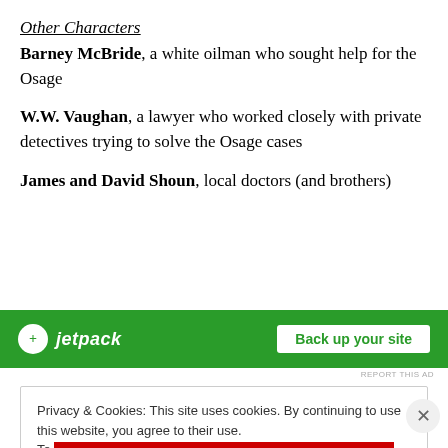Other Characters
Barney McBride, a white oilman who sought help for the Osage
W.W. Vaughan, a lawyer who worked closely with private detectives trying to solve the Osage cases
James and David Shoun, local doctors (and brothers)
[Figure (other): Jetpack advertisement banner with green background, Jetpack logo and 'Back up your site' call-to-action button]
Privacy & Cookies: This site uses cookies. By continuing to use this website, you agree to their use.
To find out more, including how to control cookies, see here: Cookie Policy
Close and accept